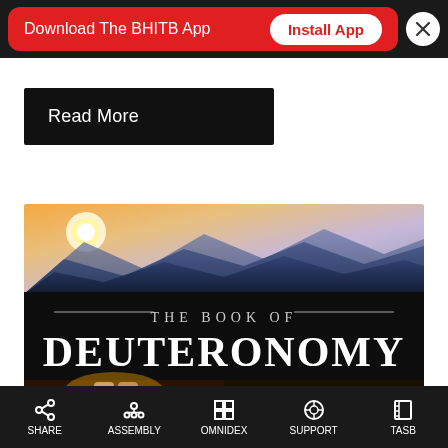Download The BHITB App   Install App
Read More
[Figure (illustration): Book cover image for 'The Book of Deuteronomy' featuring a mountain landscape at sunrise at the top, a black banner with serif text reading '— THE BOOK OF —' and 'DEUTERONOMY', and bottom panels showing stone tablets with Ten Commandments and an open ancient scroll.]
SHARE   ASSEMBLY   OMNIDEX   SUPPORT   TASB